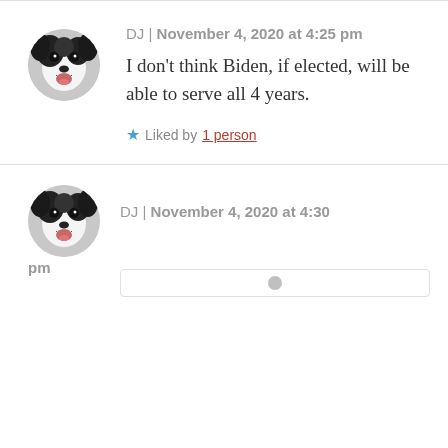[Figure (photo): Circular avatar of a black and white dog (Border Collie or similar), smiling with mouth open]
DJ | November 4, 2020 at 4:25 pm
I don't think Biden, if elected, will be able to serve all 4 years.
★ Liked by 1 person
[Figure (photo): Circular avatar of a black and white dog (Border Collie or similar), smiling with mouth open]
DJ | November 4, 2020 at 4:30 pm